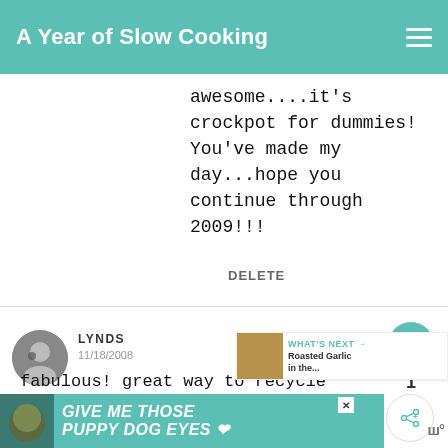A Year of Slow Cooking
awesome....it's crockpot for dummies! You've made my day...hope you continue through 2009!!!
DELETE
LYNDS
11/18/2008
fabulous! great way to recycle candles.
WHAT'S NEXT → Roasted Garlic in the...
DELETE
[Figure (screenshot): Advertisement banner: teal background with dog image, text 'GIVE ME THOSE PUPPY DOG EYES' with a heart icon]